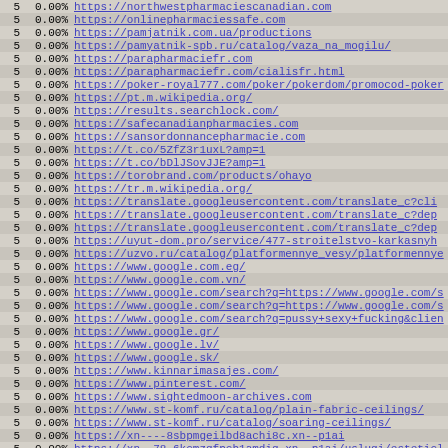| count | pct | url |
| --- | --- | --- |
| 5 | 0.00% | https://northwestpharmaciescanadian.com |
| 5 | 0.00% | https://onlinepharmaciessafe.com |
| 5 | 0.00% | https://pamjatnik.com.ua/productions |
| 5 | 0.00% | https://pamyatnik-spb.ru/catalog/vaza_na_mogilu/ |
| 5 | 0.00% | https://parapharmaciefr.com |
| 5 | 0.00% | https://parapharmaciefr.com/cialisfr.html |
| 5 | 0.00% | https://poker-royal777.com/poker/pokerdom/promocod-poker |
| 5 | 0.00% | https://pt.m.wikipedia.org/ |
| 5 | 0.00% | https://results.searchlock.com/ |
| 5 | 0.00% | https://safecanadianpharmacies.com |
| 5 | 0.00% | https://sansordonnancepharmacie.com |
| 5 | 0.00% | https://t.co/5ZfZ3r1uxL?amp=1 |
| 5 | 0.00% | https://t.co/bDlJSovJJE?amp=1 |
| 5 | 0.00% | https://torobrand.com/products/ohayo |
| 5 | 0.00% | https://tr.m.wikipedia.org/ |
| 5 | 0.00% | https://translate.googleusercontent.com/translate_c?cli |
| 5 | 0.00% | https://translate.googleusercontent.com/translate_c?dep |
| 5 | 0.00% | https://translate.googleusercontent.com/translate_c?dep |
| 5 | 0.00% | https://uyut-dom.pro/service/477-stroitelstvo-karkasnyh |
| 5 | 0.00% | https://uzvo.ru/catalog/platformennye_vesy/platformennye |
| 5 | 0.00% | https://www.google.com.eg/ |
| 5 | 0.00% | https://www.google.com.vn/ |
| 5 | 0.00% | https://www.google.com/search?q=https://www.google.com/s |
| 5 | 0.00% | https://www.google.com/search?q=https://www.google.com/s |
| 5 | 0.00% | https://www.google.com/search?q=pussy+sexy+fucking&clien |
| 5 | 0.00% | https://www.google.gr/ |
| 5 | 0.00% | https://www.google.lv/ |
| 5 | 0.00% | https://www.google.sk/ |
| 5 | 0.00% | https://www.kinnarimasajes.com/ |
| 5 | 0.00% | https://www.pinterest.com/ |
| 5 | 0.00% | https://www.sightedmoon-archives.com |
| 5 | 0.00% | https://www.st-komf.ru/catalog/plain-fabric-ceilings/ |
| 5 | 0.00% | https://www.st-komf.ru/catalog/soaring-ceilings/ |
| 5 | 0.00% | https://xn----8sbpmgeilbd8achi8c.xn--p1ai |
| 5 | 0.00% | https://xn--78-6kcmzqfpcb1amdiq.xn--p1ai/uslugi/esteticl |
| 5 | 0.00% | https://xn--80aaeb1aqsibk.xn--p1ai |
| 5 | 0.00% | https://yougame.biz/forums/568/ |
| 5 | 0.00% | https://yougame.biz/forums/689/ |
| 5 | 0.00% | https://yougame.biz/forums/817/ |
| 4 | 0.00% | 554fcae493e564ee0dc75bdf2ebf94caads|a:3:{s:2:"id";s:3 |
| 4 | 0.00% | Gecko/20180101 |